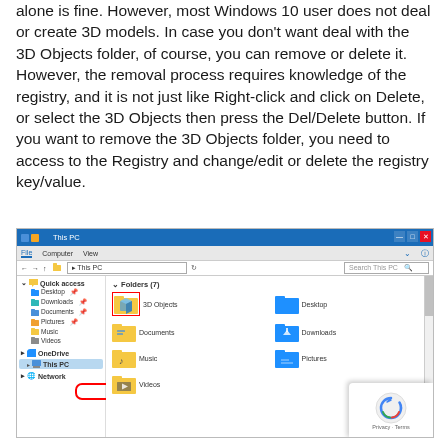alone is fine. However, most Windows 10 user does not deal or create 3D models. In case you don't want deal with the 3D Objects folder, of course, you can remove or delete it. However, the removal process requires knowledge of the registry, and it is not just like Right-click and click on Delete, or select the 3D Objects then press the Del/Delete button. If you want to remove the 3D Objects folder, you need to access to the Registry and change/edit or delete the registry key/value.
[Figure (screenshot): Windows 10 File Explorer showing This PC with Folders (7) section. The 3D Objects folder is highlighted with a red border. The left navigation panel shows Quick access items (Desktop, Downloads, Documents, Pictures, Music, Videos), OneDrive, and This PC (highlighted in blue). The right panel shows folders: 3D Objects (red border), Desktop, Documents, Downloads, Music, Pictures, Videos.]